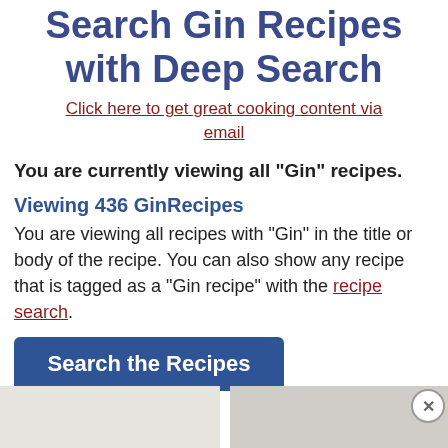Search Gin Recipes with Deep Search
Click here to get great cooking content via email
You are currently viewing all "Gin" recipes.
Viewing 436 GinRecipes
You are viewing all recipes with "Gin" in the title or body of the recipe. You can also show any recipe that is tagged as a "Gin recipe" with the recipe search.
[Figure (other): Dark blue button labeled 'Search the Recipes']
[Figure (photo): Two partial image thumbnails at the bottom of the page]